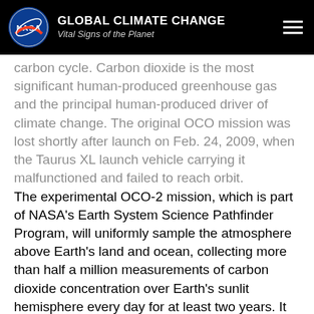GLOBAL CLIMATE CHANGE Vital Signs of the Planet
carbon cycle. Carbon dioxide is the most significant human-produced greenhouse gas and the principal human-produced driver of climate change. The original OCO mission was lost shortly after launch on Feb. 24, 2009, when the Taurus XL launch vehicle carrying it malfunctioned and failed to reach orbit.
The experimental OCO-2 mission, which is part of NASA's Earth System Science Pathfinder Program, will uniformly sample the atmosphere above Earth's land and ocean, collecting more than half a million measurements of carbon dioxide concentration over Earth's sunlit hemisphere every day for at least two years. It will do so with the accuracy, resolution and coverage needed to provide the first complete picture of the regional-scale geographic distribution and seasonal variations of both human and natural sources of carbon dioxide emissions and their